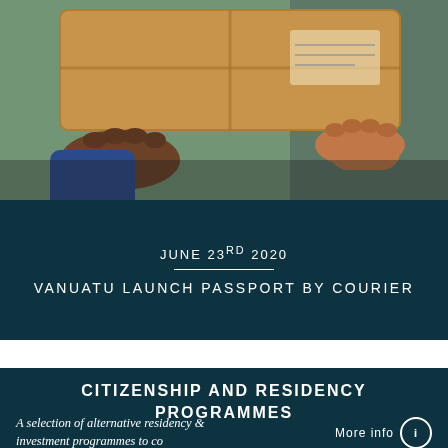[Figure (photo): Two people handing over a cardboard delivery box, close-up of hands with a blue sleeve on the left and a neutral background with greenery.]
JUNE 23RD 2020
VANUATU LAUNCH PASSPORT BY COURIER
CITIZENSHIP AND RESIDENCY PROGRAMMES
A selection of alternative residency & investment programmes to co…